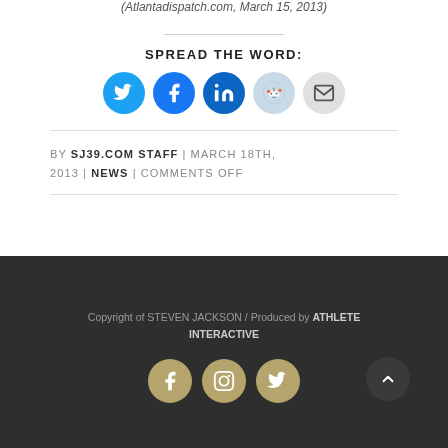(Atlanta dispatch.com, March 15, 2013)
SPREAD THE WORD:
[Figure (infographic): Social sharing icons: Twitter (blue), Facebook (blue), LinkedIn (dark blue), Reddit (light blue), Email (grey)]
BY SJ39.COM STAFF | MARCH 18TH, 2013 | NEWS | COMMENTS OFF
Copyright of STEVEN JACKSON / Produced by ATHLETE INTERACTIVE
[Figure (infographic): Footer social icons: Facebook (gold), Instagram (gold), Twitter (gold), and back-to-top chevron button]